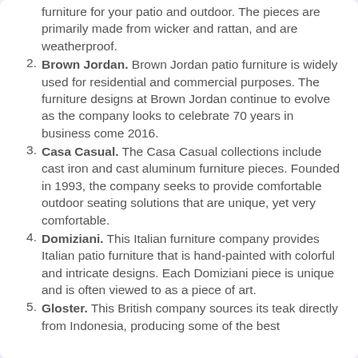furniture for your patio and outdoor. The pieces are primarily made from wicker and rattan, and are weatherproof.
Brown Jordan. Brown Jordan patio furniture is widely used for residential and commercial purposes. The furniture designs at Brown Jordan continue to evolve as the company looks to celebrate 70 years in business come 2016.
Casa Casual. The Casa Casual collections include cast iron and cast aluminum furniture pieces. Founded in 1993, the company seeks to provide comfortable outdoor seating solutions that are unique, yet very comfortable.
Domiziani. This Italian furniture company provides Italian patio furniture that is hand-painted with colorful and intricate designs. Each Domiziani piece is unique and is often viewed to as a piece of art.
Gloster. This British company sources its teak directly from Indonesia, producing some of the best